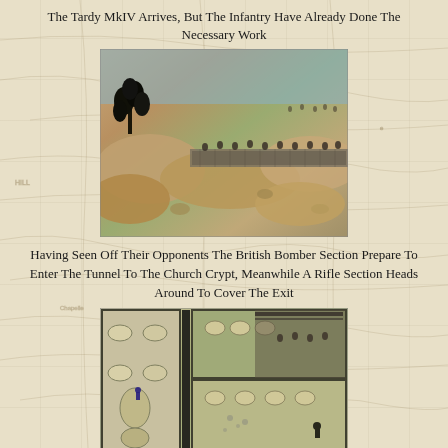The Tardy MkIV Arrives, But The Infantry Have Already Done The Necessary Work
[Figure (photo): Wargaming miniature scene showing rocky terrain with trench/wall, infantry figures advancing, black tree/explosion marker on the left, aerial/side view of a WWI-era battlefield diorama.]
Having Seen Off Their Opponents The British Bomber Section Prepare To Enter The Tunnel To The Church Crypt, Meanwhile A Rifle Section Heads Around To Cover The Exit
[Figure (photo): Overhead view of a wargaming miniature table showing building/room sections with sandbag emplacements, trench network, and infantry figures positioned around fortified positions.]